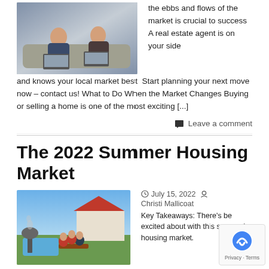[Figure (photo): Two people sitting on a couch with laptops, business meeting setting]
the ebbs and flows of the market is crucial to success A real estate agent is on your side and knows your local market best  Start planning your next move now – contact us! What to Do When the Market Changes Buying or selling a home is one of the most exciting [...]
Leave a comment
The 2022 Summer Housing Market
[Figure (photo): Group of people having a backyard barbecue by a pool]
July 15, 2022   Christi Mallicoat
Key Takeaways: There's be excited about with this summer's housing market.